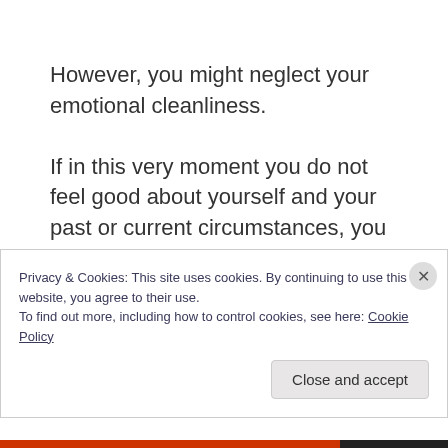However, you might neglect your emotional cleanliness.
If in this very moment you do not feel good about yourself and your past or current circumstances, you will benefit tremendously from an emotional cleanse.
The cleaner your internal emotional environment is, the better you feel.
Privacy & Cookies: This site uses cookies. By continuing to use this website, you agree to their use.
To find out more, including how to control cookies, see here: Cookie Policy
Close and accept